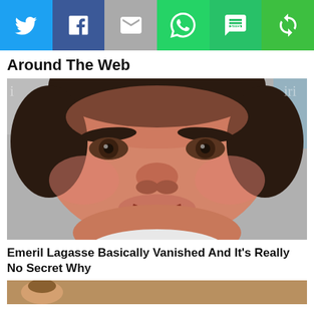[Figure (other): Social media share bar with Twitter, Facebook, Email, WhatsApp, SMS, and share buttons]
Around The Web
[Figure (photo): Close-up photo of Emeril Lagasse's face against a blurred background]
Emeril Lagasse Basically Vanished And It's Really No Secret Why
[Figure (photo): Partial image at the bottom of another article thumbnail]